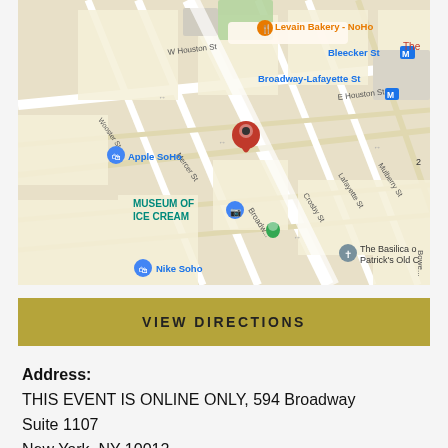[Figure (map): Google Maps screenshot showing SoHo/NoHo area of Manhattan, New York. A red location pin is placed on Broadway near Broadway-Lafayette St. Nearby landmarks labeled include Levain Bakery - NoHo, Bleecker St subway, Broadway-Lafayette St subway, Apple SoHo, Museum of Ice Cream, Nike Soho, ZARA, The Basilica of Patrick's Old Cathedral. Street names visible: W Houston St, Wooster St, Broadway, Mercer St, Crosby St, Lafayette St, Mulberry St, E Houston St, Bowery.]
VIEW DIRECTIONS
Address:
THIS EVENT IS ONLINE ONLY, 594 Broadway
Suite 1107
New York, NY 10012